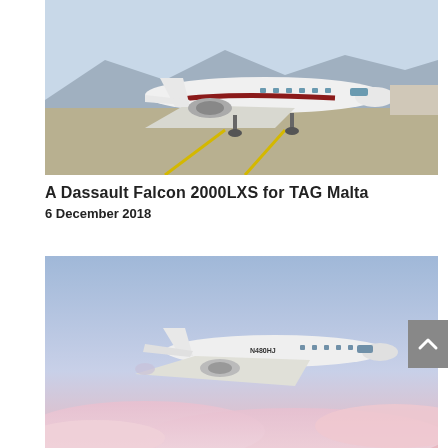[Figure (photo): A white Dassault Falcon 2000LXS business jet parked on a tarmac runway, with yellow painted lines on the ground, mountains visible in the background under a blue sky.]
A Dassault Falcon 2000LXS for TAG Malta
6 December 2018
[Figure (photo): A small white business jet aircraft (registration N480HJ) flying above pink and blue clouds at sunset/dusk.]